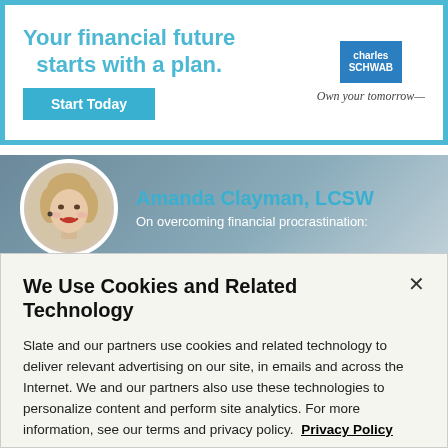[Figure (infographic): Charles Schwab advertisement banner: 'Your financial future starts with a plan.' with Start Today button and Schwab logo with tagline 'Own your tomorrow']
[Figure (photo): Circular portrait photo of Amanda Clayman, LCSW, a blonde woman smiling, on a blue-grey gradient background with her name and subtitle 'On overcoming financial procrastination:']
We Use Cookies and Related Technology
Slate and our partners use cookies and related technology to deliver relevant advertising on our site, in emails and across the Internet. We and our partners also use these technologies to personalize content and perform site analytics. For more information, see our terms and privacy policy. Privacy Policy
OK